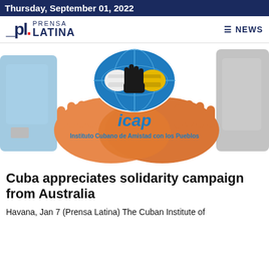Thursday, September 01, 2022
[Figure (logo): Prensa Latina logo with PL initials and NEWS menu icon]
[Figure (illustration): ICAP (Instituto Cubano de Amistad con los Pueblos) logo showing a globe with hands shaking and the text 'icap' and 'Instituto Cubano de Amistad con los Pueblos']
Cuba appreciates solidarity campaign from Australia
Havana, Jan 7 (Prensa Latina) The Cuban Institute of